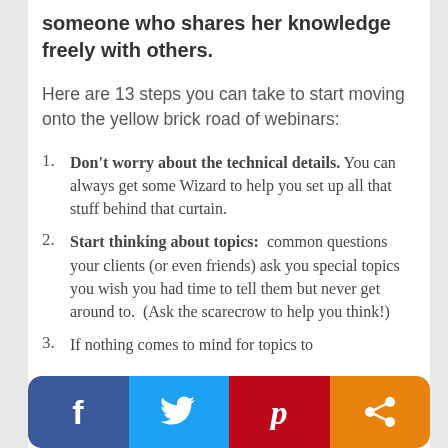someone who shares her knowledge freely with others.
Here are 13 steps you can take to start moving onto the yellow brick road of webinars:
Don't worry about the technical details. You can always get some Wizard to help you set up all that stuff behind that curtain.
Start thinking about topics: common questions your clients (or even friends) ask you special topics you wish you had time to tell them but never get around to. (Ask the scarecrow to help you think!)
If nothing comes to mind for topics to
[Figure (infographic): Social sharing buttons bar: Facebook (blue), Twitter (light blue), Pinterest (red), Share (orange)]